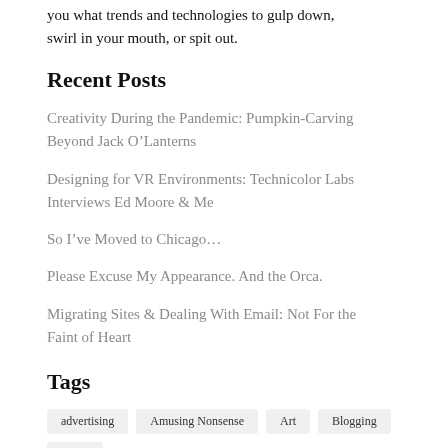you what trends and technologies to gulp down, swirl in your mouth, or spit out.
Recent Posts
Creativity During the Pandemic: Pumpkin-Carving Beyond Jack O’Lanterns
Designing for VR Environments: Technicolor Labs Interviews Ed Moore & Me
So I’ve Moved to Chicago…
Please Excuse My Appearance. And the Orca.
Migrating Sites & Dealing With Email: Not For the Faint of Heart
Tags
advertising  Amusing Nonsense  Art  Blogging  Blogs